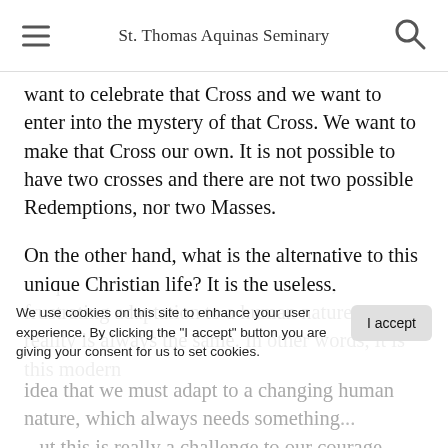St. Thomas Aquinas Seminary
want to celebrate that Cross and we want to enter into the mystery of that Cross. We want to make that Cross our own. It is not possible to have two crosses and there are not two possible Redemptions, nor two Masses.
On the other hand, what is the alternative to this unique Christian life? It is the useless, frustrating adaptation to a human nature that in reality is always the same. In other words, it is this modern idea that we must adapt to a changing human nature, which always needs something... But this is really a challenge to our courage. Because the sources of sin are always the same and can always and only be cured using the same
We use cookies on this site to enhance your user experience. By clicking the "I accept" button you are giving your consent for us to set cookies.